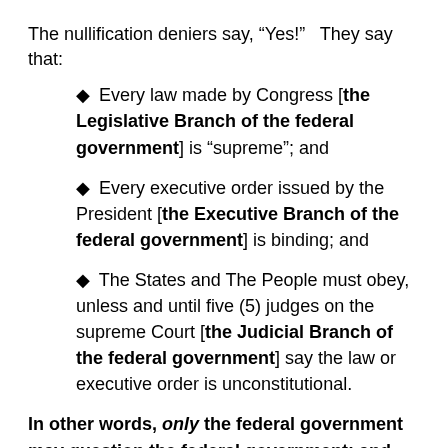The nullification deniers say, “Yes!”   They say that:
Every law made by Congress [the Legislative Branch of the federal government] is “supreme”; and
Every executive order issued by the President [the Executive Branch of the federal government] is binding; and
The States and The People must obey, unless and until five (5) judges on the supreme Court [the Judicial Branch of the federal government] say the law or executive order is unconstitutional.
In other words, only the federal government may question the federal government; and NO ONE may question the supreme Court.